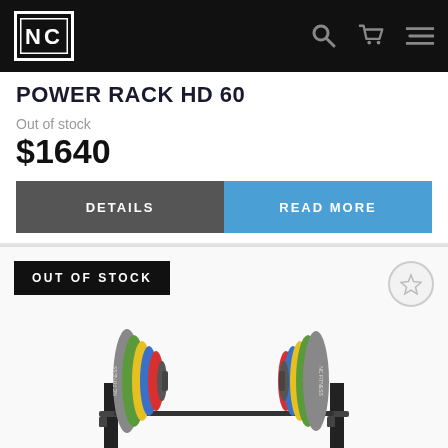[Figure (logo): NC Fitness logo in white on black square background, top navigation bar with search, cart, and menu icons]
POWER RACK HD 60
Out of stock
$1640
DETAILS
READ MORE
OUT OF STOCK
[Figure (photo): Power rack with barbell loaded with colorful weight plates (grey, green, yellow, blue, red) resting on squat rack uprights, product photo on white/grey background]